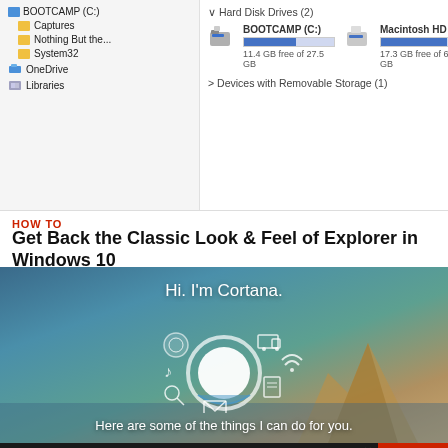[Figure (screenshot): Windows 10 File Explorer showing Hard Disk Drives: BOOTCAMP (C:) 11.4 GB free of 27.5 GB and Macintosh HD (D:) 17.3 GB free of 64.6 GB, with Devices with Removable Storage (1) section and left navigation panel showing folders: BOOTCAMP (C:), Captures, Nothing But the..., System32, OneDrive, Libraries]
HOW TO
Get Back the Classic Look & Feel of Explorer in Windows 10
[Figure (screenshot): Cortana introduction screen with text 'Hi. I'm Cortana.' at top, Cortana logo/circle in center with surrounding icons (soccer ball, truck, music note, wifi, document, envelope, search), and text 'Here are some of the things I can do for you.' at bottom, over a scenic ocean/rock background]
[Figure (infographic): Dickies advertisement banner: ADVANCED BODY TEMP TECH - Responsive technology that helps control your body temp by either cooling or warming when needed. SHOP NOW button on right.]